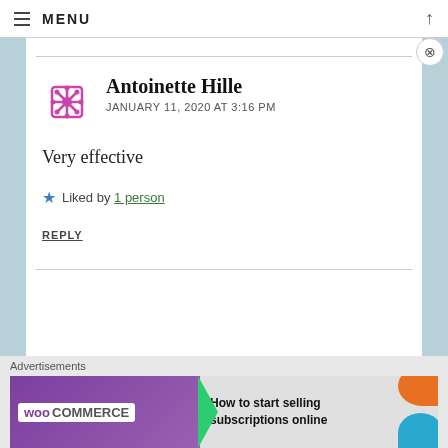MENU
Antoinette Hille
JANUARY 11, 2020 AT 3:16 PM
Very effective
Liked by 1 person
REPLY
Advertisements
[Figure (screenshot): WooCommerce advertisement banner: 'How to start selling subscriptions online']